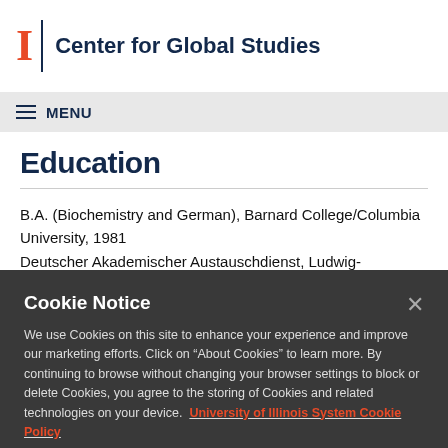Center for Global Studies
Education
B.A. (Biochemistry and German), Barnard College/Columbia University, 1981
Deutscher Akademischer Austauschdienst, Ludwig-
Cookie Notice
We use Cookies on this site to enhance your experience and improve our marketing efforts. Click on “About Cookies” to learn more. By continuing to browse without changing your browser settings to block or delete Cookies, you agree to the storing of Cookies and related technologies on your device. University of Illinois System Cookie Policy
About Cookies
Close this Notice